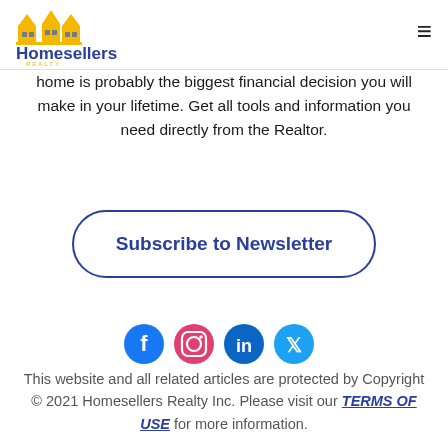[Figure (logo): Homesellers Realty logo with house icons and blue/gold text]
home is probably the biggest financial decision you will make in your lifetime. Get all tools and information you need directly from the Realtor.
Subscribe to Newsletter
[Figure (infographic): Social media icons: Facebook, Instagram, LinkedIn, Twitter]
This website and all related articles are protected by Copyright © 2021 Homesellers Realty Inc. Please visit our TERMS OF USE for more information.